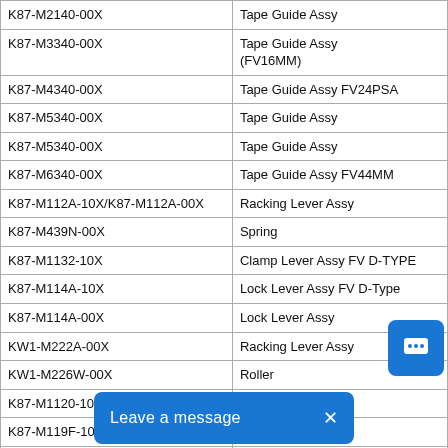| Part Number | Description |
| --- | --- |
| K87-M2140-00X | Tape Guide Assy |
| K87-M3340-00X | Tape Guide Assy (FV16MM) |
| K87-M4340-00X | Tape Guide Assy FV24PSA |
| K87-M5340-00X | Tape Guide Assy |
| K87-M5340-00X | Tape Guide Assy |
| K87-M6340-00X | Tape Guide Assy FV44MM |
| K87-M112A-10X/K87-M112A-00X | Racking Lever Assy |
| K87-M439N-00X | Spring |
| K87-M1132-10X | Clamp Lever Assy FV D-TYPE |
| K87-M114A-10X | Lock Lever Assy FV D-Type |
| K87-M114A-00X | Lock Lever Assy |
| KW1-M222A-00X | Racking Lever Assy |
| KW1-M226W-00X | Roller |
| K87-M1120-10X | Sprocket Assy 8*4 |
| K87-M119F-10X | Drive Roller Assy |
| K87-M1199-00X | Drive Gear Assy |
| 5322 522 33367, K87-M1199-100, 5322 522 10679, K87-M1199-10X | Drive Gear Assy FV D/E Type |
| K87-M119L-10X | Idle Roller Assy FV8MM |
| K87-M119G-10X | Drive Roller FV8MM |
| K87-M219L-00X | Idle Roller Assy |
| KHJ-MC46V-00 |  |
| K87-M219L-00X | Idle Roller Assy |